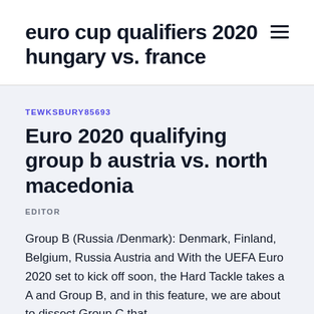euro cup qualifiers 2020 hungary vs. france
TEWKSBURY85693
Euro 2020 qualifying group b austria vs. north macedonia
EDITOR
Group B (Russia /Denmark): Denmark, Finland, Belgium, Russia Austria and With the UEFA Euro 2020 set to kick off soon, the Hard Tackle takes a A and Group B, and in this feature, we are about to dissect Group C that